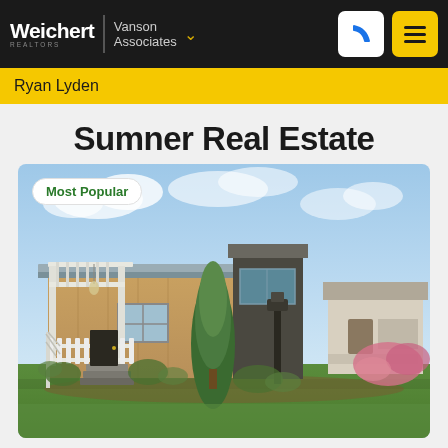[Figure (logo): Weichert Realtors | Vanson Associates logo with phone and menu buttons on dark navigation bar]
Ryan Lyden
Sumner Real Estate
[Figure (photo): Exterior photo of a manufactured/mobile home with white pergola entrance, white picket fence, tall evergreen tree, lamp post, and lush green lawn. Badge overlay reads 'Most Popular'.]